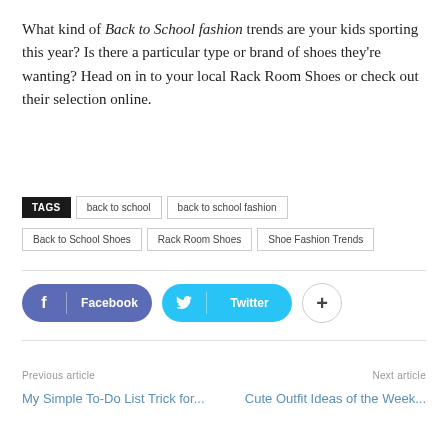What kind of Back to School fashion trends are your kids sporting this year? Is there a particular type or brand of shoes they're wanting? Head on in to your local Rack Room Shoes or check out their selection online.
TAGS  back to school  back to school fashion  Back to School Shoes  Rack Room Shoes  Shoe Fashion Trends
[Figure (other): Social sharing buttons: Facebook, Twitter, and a plus button]
Previous article
Next article
My Simple To-Do List Trick for...
Cute Outfit Ideas of the Week...